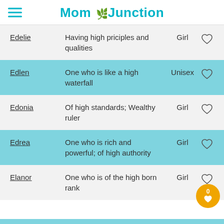Mom Junction
| Name | Meaning | Gender |  |
| --- | --- | --- | --- |
| Edelie | Having high priciples and qualities | Girl | ♡ |
| Edlen | One who is like a high waterfall | Unisex | ♡ |
| Edonia | Of high standards; Wealthy ruler | Girl | ♡ |
| Edrea | One who is rich and powerful; of high authority | Girl | ♡ |
| Elanor | One who is of the high born rank | Girl | ♡ |